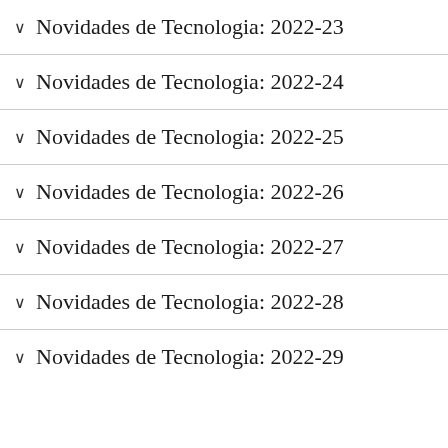✓ Novidades de Tecnologia: 2022-23
✓ Novidades de Tecnologia: 2022-24
✓ Novidades de Tecnologia: 2022-25
✓ Novidades de Tecnologia: 2022-26
✓ Novidades de Tecnologia: 2022-27
✓ Novidades de Tecnologia: 2022-28
✓ Novidades de Tecnologia: 2022-29